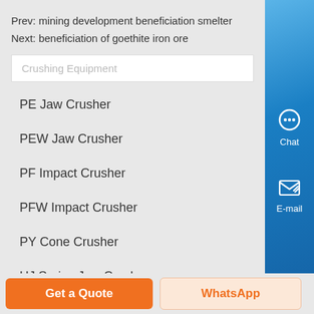Prev: mining development beneficiation smelter
Next: beneficiation of goethite iron ore
Crushing Equipment
PE Jaw Crusher
PEW Jaw Crusher
PF Impact Crusher
PFW Impact Crusher
PY Cone Crusher
HJ Series Jaw Crusher
Get a Quote
WhatsApp